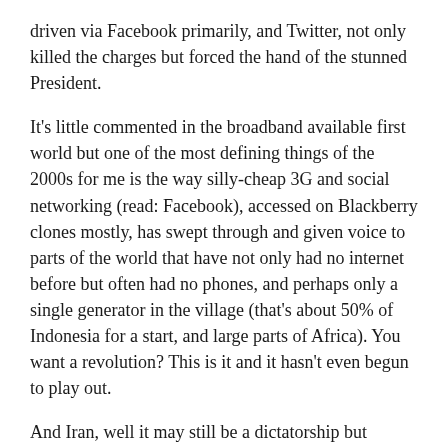driven via Facebook primarily, and Twitter, not only killed the charges but forced the hand of the stunned President.
It's little commented in the broadband available first world but one of the most defining things of the 2000s for me is the way silly-cheap 3G and social networking (read: Facebook), accessed on Blackberry clones mostly, has swept through and given voice to parts of the world that have not only had no internet before but often had no phones, and perhaps only a single generator in the village (that's about 50% of Indonesia for a start, and large parts of Africa). You want a revolution? This is it and it hasn't even begun to play out.
And Iran, well it may still be a dictatorship but twitter played it's part in completely smothering any claim the 'elected' government may have to legitimacy and being a democracy, far more than innumerable rants in the Murdoch media could have. It opened a lot of eyes. It was never going to change regime..please...